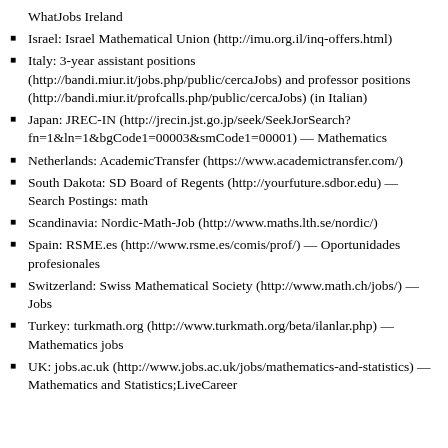WhatJobs Ireland
Israel: Israel Mathematical Union (http://imu.org.il/inq-offers.html)
Italy: 3-year assistant positions (http://bandi.miur.it/jobs.php/public/cercaJobs) and professor positions (http://bandi.miur.it/profcalls.php/public/cercaJobs) (in Italian)
Japan: JREC-IN (http://jrecin.jst.go.jp/seek/SeekJorSearch?fn=1&ln=1&bgCode1=00003&smCode1=00001) — Mathematics
Netherlands: AcademicTransfer (https://www.academictransfer.com/)
South Dakota: SD Board of Regents (http://yourfuture.sdbor.edu) — Search Postings: math
Scandinavia: Nordic-Math-Job (http://www.maths.lth.se/nordic/)
Spain: RSME.es (http://www.rsme.es/comis/prof/) — Oportunidades profesionales
Switzerland: Swiss Mathematical Society (http://www.math.ch/jobs/) — Jobs
Turkey: turkmath.org (http://www.turkmath.org/beta/ilanlar.php) — Mathematics jobs
UK: jobs.ac.uk (http://www.jobs.ac.uk/jobs/mathematics-and-statistics) — Mathematics and Statistics;LiveCareer